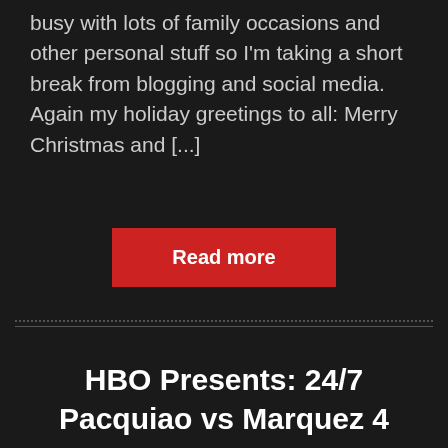busy with lots of family occasions and other personal stuff so I'm taking a short break from blogging and social media. Again my holiday greetings to all: Merry Christmas and [...]
Read more
HBO Presents: 24/7 Pacquiao vs Marquez 4
SPORTS